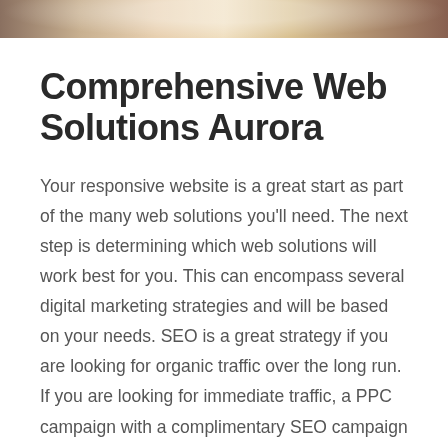[Figure (photo): Partial photo strip at top of page showing a blurred/cropped image, appears to be people or objects in a warm-toned setting]
Comprehensive Web Solutions Aurora
Your responsive website is a great start as part of the many web solutions you'll need. The next step is determining which web solutions will work best for you. This can encompass several digital marketing strategies and will be based on your needs. SEO is a great strategy if you are looking for organic traffic over the long run. If you are looking for immediate traffic, a PPC campaign with a complimentary SEO campaign will help get you that traffic for your keywords. Let's not forget about social media. If you have conventions, social